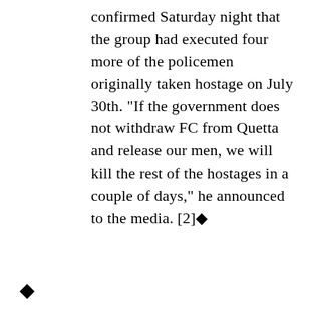confirmed Saturday night that the group had executed four more of the policemen originally taken hostage on July 30th. "If the government does not withdraw FC from Quetta and release our men, we will kill the rest of the hostages in a couple of days," he announced to the media. [2]◆
◆